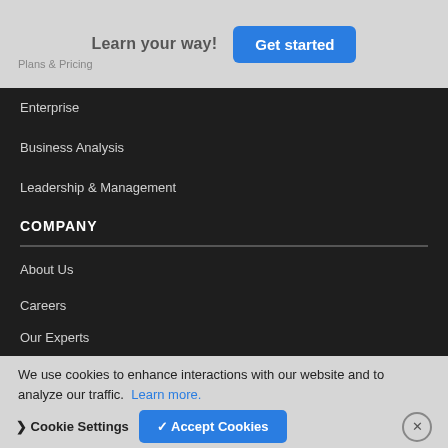Learn your way!
Get started
Plans & Pricing
Enterprise
Business Analysis
Leadership & Management
COMPANY
About Us
Careers
Our Experts
Contact Us
We use cookies to enhance interactions with our website and to analyze our traffic.  Learn more.
Cookie Settings
✓ Accept Cookies